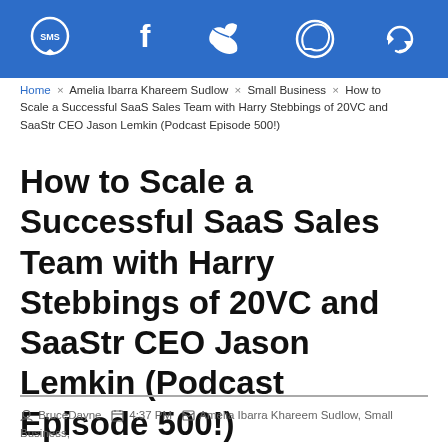[Figure (other): Blue header bar with social sharing icons: SMS, Facebook, Twitter, WhatsApp, and a refresh/share icon]
Home × Amelia Ibarra Khareem Sudlow × Small Business × How to Scale a Successful SaaS Sales Team with Harry Stebbings of 20VC and SaaStr CEO Jason Lemkin (Podcast Episode 500!)
How to Scale a Successful SaaS Sales Team with Harry Stebbings of 20VC and SaaStr CEO Jason Lemkin (Podcast Episode 500!)
BruceDayne  4:37 PM  Amelia Ibarra Khareem Sudlow, Small Business,